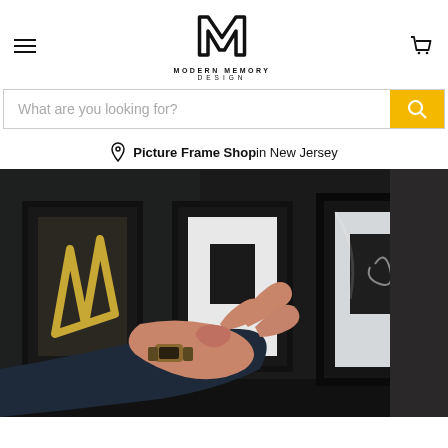Modern Memory Design
What are you looking for?
Picture Frame Shop in New Jersey
[Figure (photo): Person pointing at framed pictures hanging on a wall in a picture frame shop. Multiple black frames with white mats are visible on the wall.]